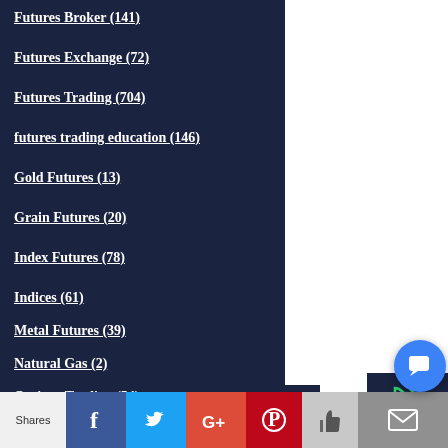Futures Broker (141)
Futures Exchange (72)
Futures Trading (704)
futures trading education (146)
Gold Futures (13)
Grain Futures (20)
Index Futures (78)
Indices (61)
Metal Futures (39)
Natural Gas (2)
Options Trading (54)
S&P 500 (6)
Trading Guide (80)
Trading Webinar (16)
[Figure (infographic): Sidebar icons: phone/call icon, search/magnifying glass icon, chart/analytics icon, all on dark navy background]
[Figure (infographic): Share bar at bottom with Shares label, Facebook, Twitter, Google+, Pinterest, Like, Email buttons and floating chat bubble]